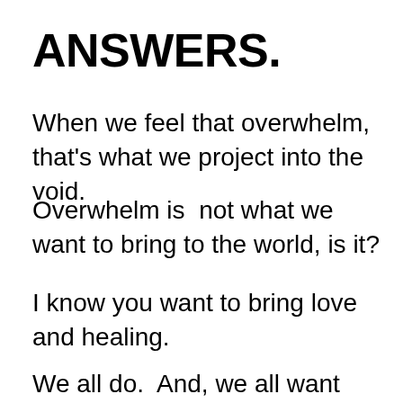ANSWERS.
When we feel that overwhelm, that’s what we project into the void.
Overwhelm is  not what we want to bring to the world, is it?
I know you want to bring love and healing.
We all do.  And, we all want that for ourselves.